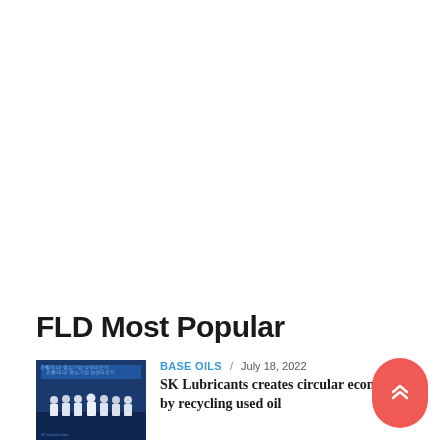FLD Most Popular
[Figure (photo): Group of people in blue uniforms at an event with Korean text banner]
BASE OILS / July 18, 2022
SK Lubricants creates circular economy by recycling used oil